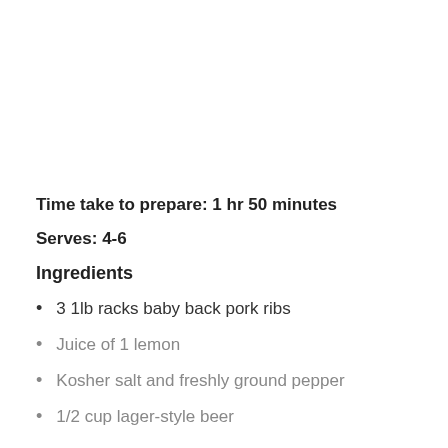Time take to prepare: 1 hr 50 minutes
Serves: 4-6
Ingredients
3 1lb racks baby back pork ribs
Juice of 1 lemon
Kosher salt and freshly ground pepper
1/2 cup lager-style beer